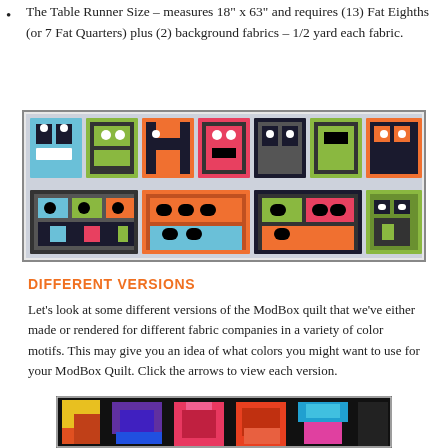The Table Runner Size – measures 18" x 63" and requires (13) Fat Eighths (or 7 Fat Quarters) plus (2) background fabrics – 1/2 yard each fabric.
[Figure (photo): A colorful quilt table runner showing geometric block letters spelling out text using various patterned fabrics in blue, green, orange, black, and multi-colored designs on a light background.]
DIFFERENT VERSIONS
Let's look at some different versions of the ModBox quilt that we've either made or rendered for different fabric companies in a variety of color motifs. This may give you an idea of what colors you might want to use for your ModBox Quilt. Click the arrows to view each version.
[Figure (photo): A ModBox quilt version showing colorful squares and rectangles arranged in a modern geometric pattern on a black background, with colors including yellow, orange, red, coral, green, blue, purple, and pink.]